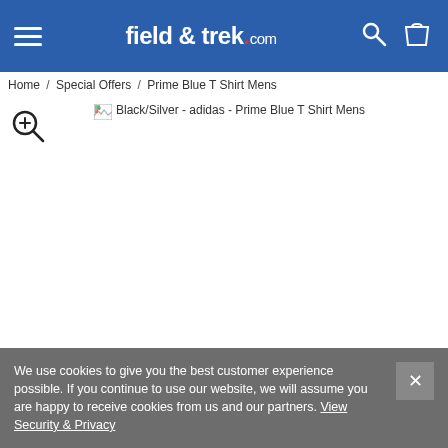field & trek.com
Home / Special Offers / Prime Blue T Shirt Mens
[Figure (screenshot): Broken image placeholder with alt text: Black/Silver - adidas - Prime Blue T Shirt Mens]
We use cookies to give you the best customer experience possible. If you continue to use our website, we will assume you are happy to receive cookies from us and our partners. View Security & Privacy